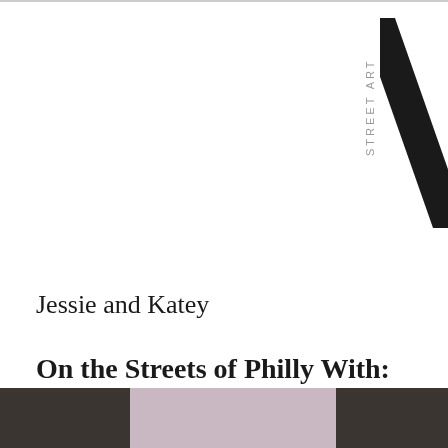[Figure (logo): Street Art News logo — vertical text 'STREET ART' beside a large bold letter N]
Jessie and Katey
On the Streets of Philly With: Adam Crawford, Moon, Calo Rosa, Jes and stikman
JANUARY 25, 2020
[Figure (photo): Bottom portion of a street art photograph showing a pink painted brick wall between two dark doorways/windows]